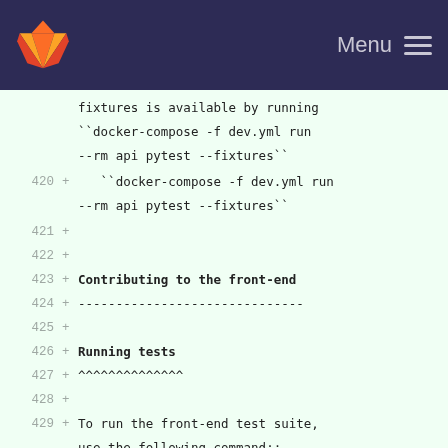GitLab Menu
fixtures is available by running
  ``docker-compose -f dev.yml run --rm api pytest --fixtures``
420 + ``docker-compose -f dev.yml run --rm api pytest --fixtures``
421 +
422 +
423 + Contributing to the front-end
424 + ------------------------------
425 +
426 + Running tests
427 + ^^^^^^^^^^^^^^
428 +
429 + To run the front-end test suite, use the following command::
430 +
431 +     docker-compose -f dev.yml run --rm front yarn run unit
432 +
433 + We also support a "watch and test" mode were we continually relaunch
434 + tests when changes are recorded on